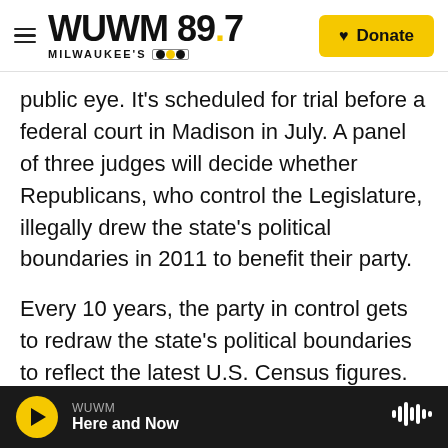WUWM 89.7 Milwaukee's NPR | Donate
public eye. It's scheduled for trial before a federal court in Madison in July. A panel of three judges will decide whether Republicans, who control the Legislature, illegally drew the state's political boundaries in 2011 to benefit their party.
Every 10 years, the party in control gets to redraw the state's political boundaries to reflect the latest U.S. Census figures. In 2011, it was newly re-elected Republican Gov. Scott Walker and a GOP majority in the legislature.
New Democratic Gov. Tony Evers has proposed in his budget a different process for 2021. He has it…
WUWM | Here and Now